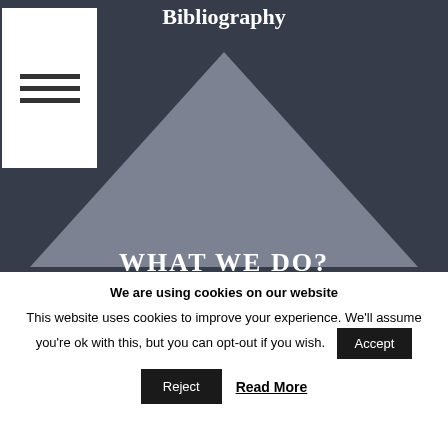Bibliography
[Figure (illustration): A dark navy/slate background with a large grey triangle shape centered horizontally, pointing upward, spanning most of the width of the section.]
WHAT WE DO?
We are using cookies on our website
This website uses cookies to improve your experience. We'll assume you're ok with this, but you can opt-out if you wish.
Accept
Reject
Read More